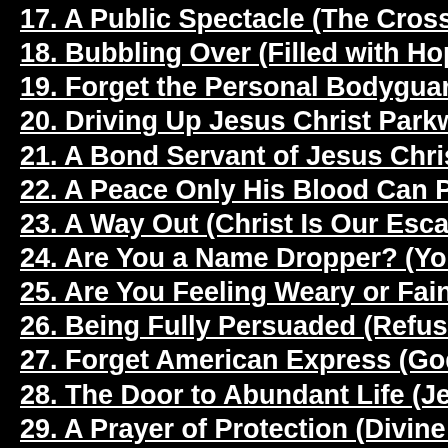17. A Public Spectacle (The Cross Cha…
18. Bubbling Over (Filled with Hope)…
19. Forget the Personal Bodyguard (Je…
20. Driving Up Jesus Christ Parkway (…
21. A Bond Servant of Jesus Christ (Da…
22. A Peace Only His Blood Can Purch…
23. A Way Out (Christ Is Our Escape)…
24. Are You a Name Dropper? (You Ca…
25. Are You Feeling Weary or Faint? (G…
26. Being Fully Persuaded (Refuse to…
27. Forget American Express (God's G…
28. The Door to Abundant Life (Jesus'…
29. A Prayer of Protection (Divine Favo…
30. Bathing Under God's Faucet of Gra…
31. Wise and Full of the Spirit (The Gr…
32. Jesus Talked to God on Your Beha…